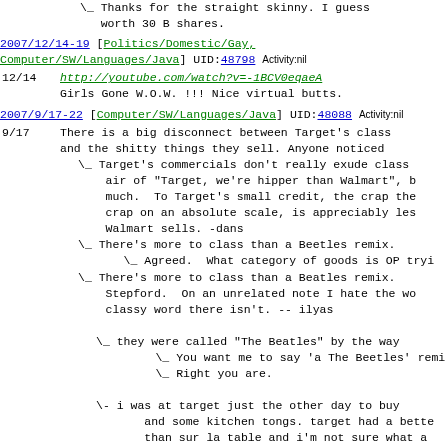\_ Thanks for the straight skinny. I guess worth 30 B shares.
2007/12/14-19 [Politics/Domestic/Gay, Computer/SW/Languages/Java] UID:48798 Activity:nil
12/14   http://youtube.com/watch?v=-1BCV0eqaeA
        Girls Gone W.O.W. !!! Nice virtual butts.
2007/9/17-22 [Computer/SW/Languages/Java] UID:48088 Activity:nil
9/17  There is a big disconnect between Target's class and the shitty things they sell. Anyone noticed
\_ Target's commercials don't really exude class air of "Target, we're hipper than Walmart", b much.  To Target's small credit, the crap the crap on an absolute scale, is appreciably les Walmart sells. -dans
\_ There's more to class than a Beetles remix.
   \_ Agreed.  What category of goods is OP tryi
\_ There's more to class than a Beatles remix. Stepford.  On an unrelated note I hate the wo classy word there isn't. -- ilyas
   \_ they were called "The Beatles" by the way
      \_ You want me to say 'a The Beetles' remi
      \_ Right you are.
   \- i was at target just the other day to buy and some kitchen tongs. target had a bette than sur la table and i'm not sure what a would look like. i dont buy clothes there copper cookware or a mont blanc pen there,
      \_ The clothes for kids are actually quite few places you can buy an outfit for a